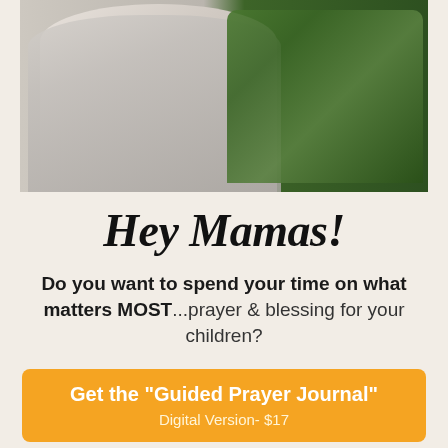[Figure (photo): A woman with light hair wearing a gray cardigan and white top, seated in front of green tropical plants and a brick/concrete background]
Hey Mamas!
Do you want to spend your time on what matters MOST...prayer & blessing for your children?
Get the "Guided Prayer Journal" Digital Version- $17